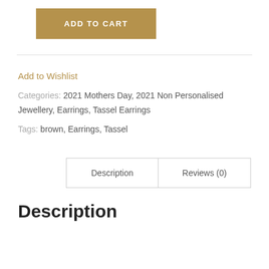ADD TO CART
Add to Wishlist
Categories: 2021 Mothers Day, 2021 Non Personalised Jewellery, Earrings, Tassel Earrings
Tags: brown, Earrings, Tassel
Description
Reviews (0)
Description